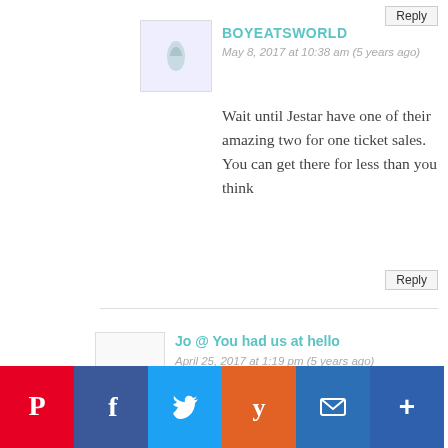Reply
BOYEATSWORLD
May 8, 2017 at 10:38 am (5 years ago)
Wait until Jestar have one of their amazing two for one ticket sales. You can get there for less than you think
Reply
Jo @ You had us at hello
April 25, 2017 at 1:19 pm (5 years ago)
Oh how lucky! I have a friend I'd love to visit in Osaka – she was our exchange student in 1988!! I was 12 and she was 16. I've met her husband but yet to meet her boys and she's yet to meet my family. We're still in touch so it's on the cards for sure. Y...s...ou...t...g wanna boo...know!! Enjoy let #teamBOY
[Figure (infographic): Social share bar with Pinterest, Facebook, Twitter, Yummly, Email, and More buttons]